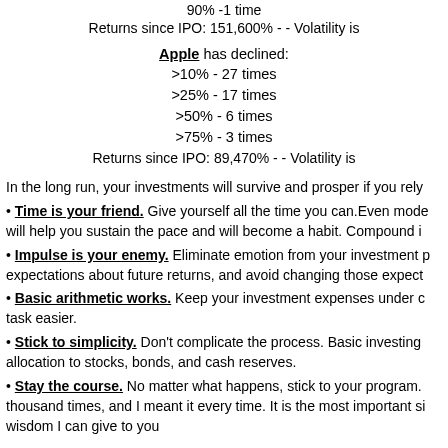90% -1 time
Returns since IPO: 151,600% - - Volatility is
Apple has declined:
>10% - 27 times
>25% - 17 times
>50% - 6 times
>75% - 3 times
Returns since IPO: 89,470% - - Volatility is
In the long run, your investments will survive and prosper if you rely
• Time is your friend. Give yourself all the time you can.Even mode will help you sustain the pace and will become a habit. Compound i
• Impulse is your enemy. Eliminate emotion from your investment p expectations about future returns, and avoid changing those expect
• Basic arithmetic works. Keep your investment expenses under c task easier.
• Stick to simplicity. Don't complicate the process. Basic investing allocation to stocks, bonds, and cash reserves.
• Stay the course. No matter what happens, stick to your program. thousand times, and I meant it every time. It is the most important si wisdom I can give to you